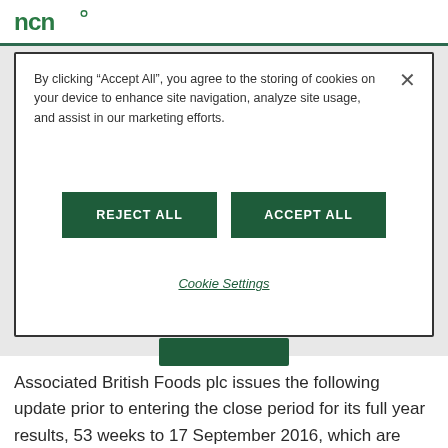ABF logo and navigation
By clicking “Accept All”, you agree to the storing of cookies on your device to enhance site navigation, analyze site usage, and assist in our marketing efforts.
REJECT ALL | ACCEPT ALL
Cookie Settings
Associated British Foods plc issues the following update prior to entering the close period for its full year results, 53 weeks to 17 September 2016, which are scheduled to be announced on 8 November 2016.